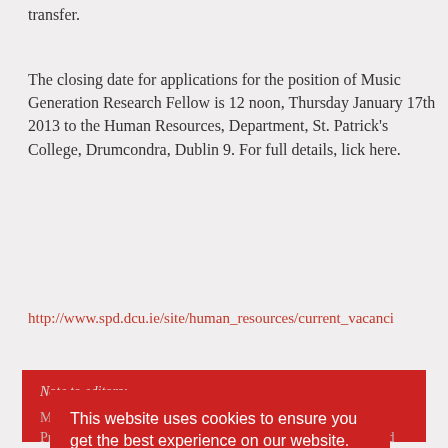transfer.
The closing date for applications for the position of Music Generation Research Fellow is 12 noon, Thursday January 17th 2013 to the Human Resources, Department, St. Patrick's College, Drumcondra, Dublin 9. For full details, lick here.
http://www.spd.dcu.ie/site/human_resources/current_vacanci
Note to editors:
Music Generation is Ireland's National Music Education Programme, initiated by Music Network and funded by U2 and The Ireland Funds, together with a range of local partners. Music Generation helps children and young people access high quality subsidised music education in their local area.
This website uses cookies to ensure you get the best experience on our website.
Learn more
Accept